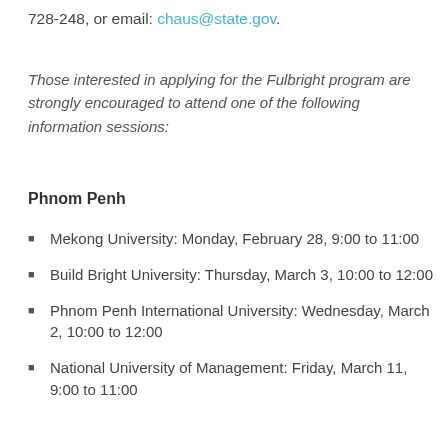728-248, or email: chaus@state.gov.
Those interested in applying for the Fulbright program are strongly encouraged to attend one of the following information sessions:
Phnom Penh
Mekong University: Monday, February 28, 9:00 to 11:00
Build Bright University: Thursday, March 3, 10:00 to 12:00
Phnom Penh International University: Wednesday, March 2, 10:00 to 12:00
National University of Management: Friday, March 11, 9:00 to 11:00